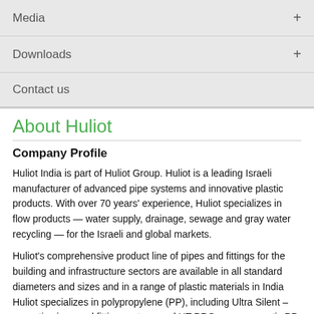Media +
Downloads +
Contact us
About Huliot
Company Profile
Huliot India is part of Huliot Group. Huliot is a leading Israeli manufacturer of advanced pipe systems and innovative plastic products. With over 70 years' experience, Huliot specializes in flow products — water supply, drainage, sewage and gray water recycling — for the Israeli and global markets.
Huliot's comprehensive product line of pipes and fittings for the building and infrastructure sectors are available in all standard diameters and sizes and in a range of plastic materials in India Huliot specializes in polypropylene (PP), including Ultra Silent – acoustic pipes and fitting system, and HT PRO – non-acoustic PP